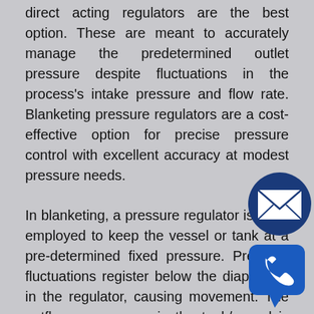direct acting regulators are the best option. These are meant to accurately manage the predetermined outlet pressure despite fluctuations in the process's intake pressure and flow rate. Blanketing pressure regulators are a cost-effective option for precise pressure control with excellent accuracy at modest pressure needs.
In blanketing, a pressure regulator is often employed to keep the vessel or tank at a pre-determined fixed pressure. Pressure fluctuations register below the diaphragm in the regulator, causing movement. The outflow or pressure in the tank/vessel is the registering pressure. The spring's loading pressure inhibits diaphragm movement. The diaphragm movement is transferred to the stem through the lever. The spring force pushes the diaphragm down, the stem moves and the port opens when the tank/vessel pressure drops due to process consumption. As the pressure in the tank/vessel is equalised, the diaphragm is pushed up, the stem goes down, and the port aperture shuts, causing flow to halt. We are the
[Figure (illustration): Email envelope icon inside a dark blue circle, positioned at the right side of the page overlapping the second paragraph]
[Figure (illustration): Phone/telephone handset icon inside a dark blue rounded square speech bubble, positioned at the lower right of the page]